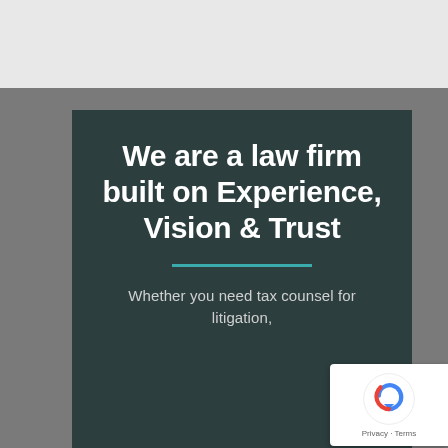We are a law firm built on Experience, Vision & Trust
Whether you need tax counsel for litigation,